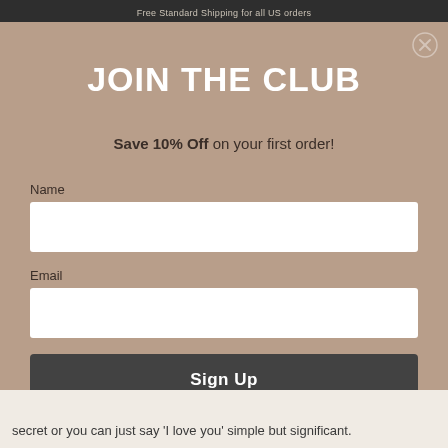Free Standard Shipping for all US orders
JOIN THE CLUB
Save 10% Off on your first order!
Name
Email
Sign Up
secret or you can just say 'I love you' simple but significant.